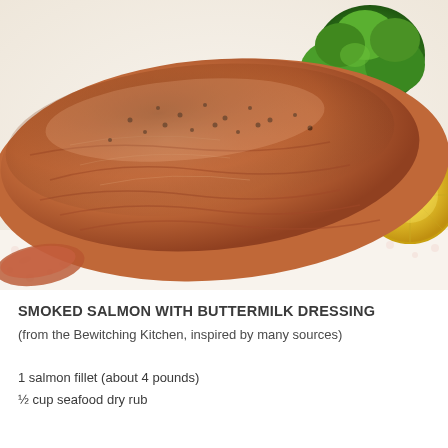[Figure (photo): Close-up photo of a smoked salmon fillet on a decorative plate with broccoli and a lemon slice in the background]
SMOKED SALMON WITH BUTTERMILK DRESSING
(from the Bewitching Kitchen, inspired by many sources)
1 salmon fillet (about 4 pounds)
½ cup seafood dry rub